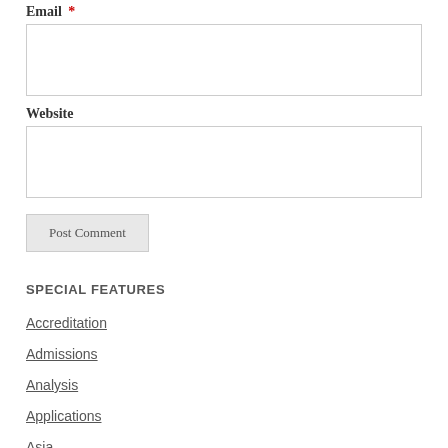Email *
Website
Post Comment
SPECIAL FEATURES
Accreditation
Admissions
Analysis
Applications
Asia
Book Reviews
Brazil